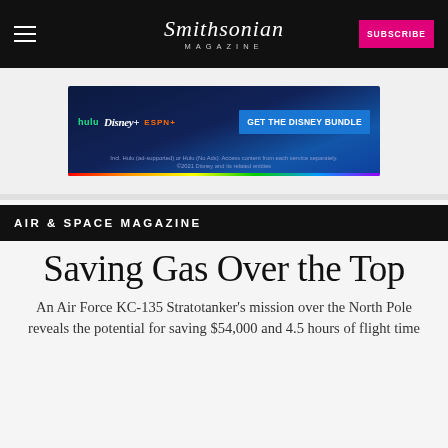Smithsonian MAGAZINE | SUBSCRIBE
[Figure (infographic): Disney Bundle advertisement banner showing Hulu, Disney+, and ESPN+ logos with blue background and 'GET THE DISNEY BUNDLE' call to action button. Fine print reads: Incl. Hulu (ad-supported) or Hulu (No Ads). Access content from each service separately. ©2021 Disney and its related entities]
AIR & SPACE MAGAZINE
Saving Gas Over the Top
An Air Force KC-135 Stratotanker's mission over the North Pole reveals the potential for saving $54,000 and 4.5 hours of flight time